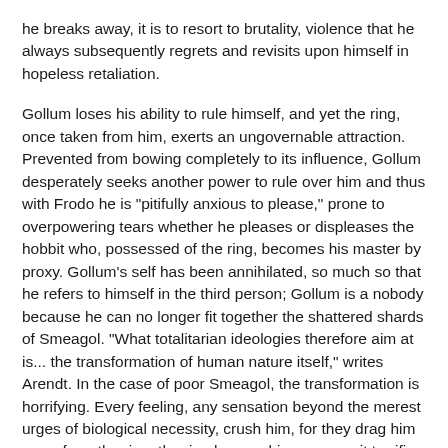he breaks away, it is to resort to brutality, violence that he always subsequently regrets and revisits upon himself in hopeless retaliation.
Gollum loses his ability to rule himself, and yet the ring, once taken from him, exerts an ungovernable attraction. Prevented from bowing completely to its influence, Gollum desperately seeks another power to rule over him and thus with Frodo he is "pitifully anxious to please," prone to overpowering tears whether he pleases or displeases the hobbit who, possessed of the ring, becomes his master by proxy. Gollum's self has been annihilated, so much so that he refers to himself in the third person; Gollum is a nobody because he can no longer fit together the shattered shards of Smeagol. "What totalitarian ideologies therefore aim at is... the transformation of human nature itself," writes Arendt. In the case of poor Smeagol, the transformation is horrifying. Every feeling, any sensation beyond the merest urges of biological necessity, crush him, for they drag him away from the ring, the ring he worships even as it terrifies and tortures him.